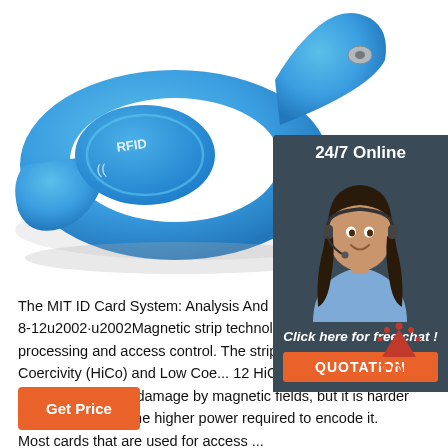[Figure (photo): Blue RFID silicone wristband on white background]
[Figure (photo): Customer service representative with headset, 24/7 Online chat widget with QUOTATION button]
The MIT ID Card System: Analysis And Recommendations 2006-8-12u2002·u2002Magnetic strip technology is transaction processing and access control. The strip main varieties: High Coercivity (HiCo) and Low Coe 12 HiCo provides highest protection against damage by magnetic fields, but it is harder to encode due to the higher power required to encode it. Most cards that are used for access ...
[Figure (other): TOP button/icon with orange dots and TOP text]
Get Price